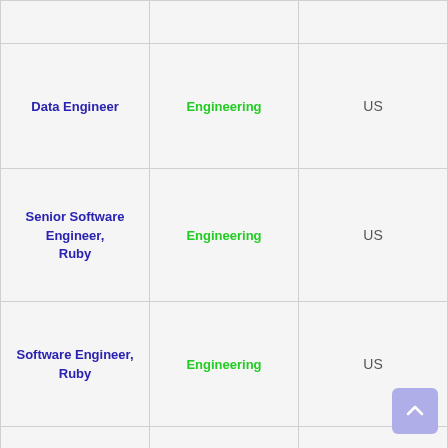| Job Title | Department | Location |
| --- | --- | --- |
| Data Engineer | Engineering | US |
| Senior Software Engineer, Ruby | Engineering | US |
| Software Engineer, Ruby | Engineering | US |
| Senior Staff Accountant | Finance & Accounting | US |
| (partial row) | Finance & | US |